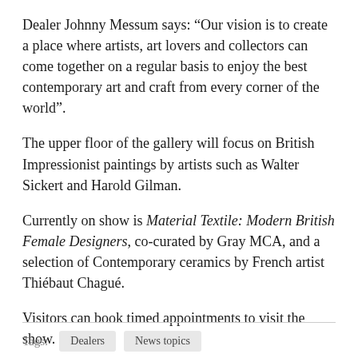Dealer Johnny Messum says: “Our vision is to create a place where artists, art lovers and collectors can come together on a regular basis to enjoy the best contemporary art and craft from every corner of the world”.
The upper floor of the gallery will focus on British Impressionist paintings by artists such as Walter Sickert and Harold Gilman.
Currently on show is Material Textile: Modern British Female Designers, co-curated by Gray MCA, and a selection of Contemporary ceramics by French artist Thiébaut Chagué.
Visitors can book timed appointments to visit the show.
Tags:  Dealers  News topics